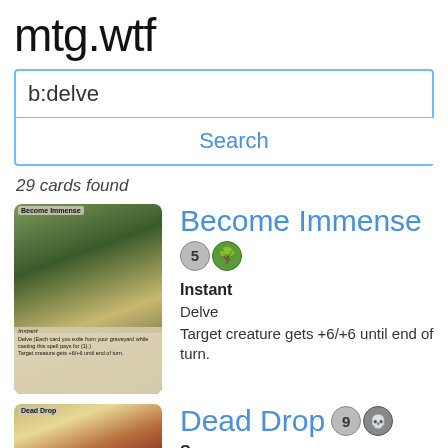mtg.wtf
b:delve
Search
29 cards found
[Figure (illustration): Magic: The Gathering card art for Become Immense showing a large creature in a forest]
Become Immense
Mana cost: 5 generic, 1 green
Instant
Delve
Target creature gets +6/+6 until end of turn.
[Figure (illustration): Magic: The Gathering card art for Dead Drop showing a flying demon creature]
Dead Drop
Mana cost: 9 generic, 1 black
Sorcery